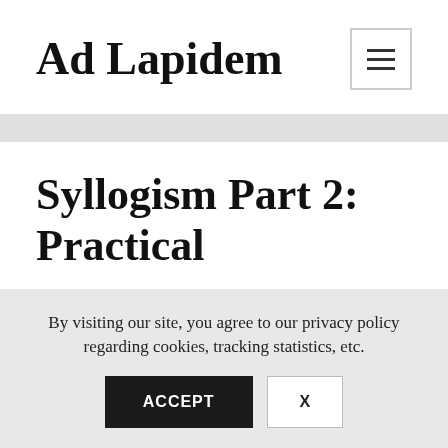Ad Lapidem
Syllogism Part 2: Practical
[If you have already read Part 1 of this
By visiting our site, you agree to our privacy policy regarding cookies, tracking statistics, etc.